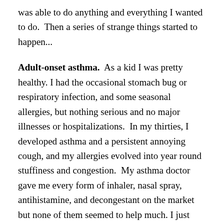was able to do anything and everything I wanted to do.  Then a series of strange things started to happen...
Adult-onset asthma.  As a kid I was pretty healthy. I had the occasional stomach bug or respiratory infection, and some seasonal allergies, but nothing serious and no major illnesses or hospitalizations.  In my thirties, I developed asthma and a persistent annoying cough, and my allergies evolved into year round stuffiness and congestion.  My asthma doctor gave me every form of inhaler, nasal spray, antihistamine, and decongestant on the market but none of them seemed to help much. I just dealt with it.